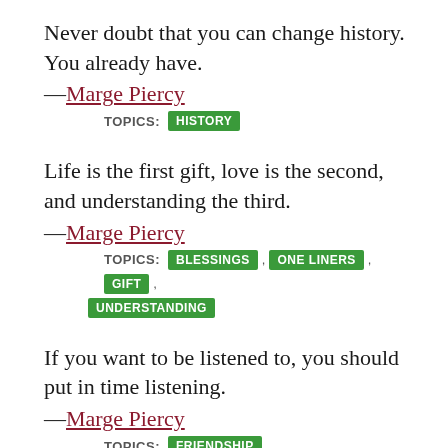Never doubt that you can change history. You already have.
—Marge Piercy
TOPICS: HISTORY
Life is the first gift, love is the second, and understanding the third.
—Marge Piercy
TOPICS: BLESSINGS, ONE LINERS, GIFT, UNDERSTANDING
If you want to be listened to, you should put in time listening.
—Marge Piercy
TOPICS: FRIENDSHIP